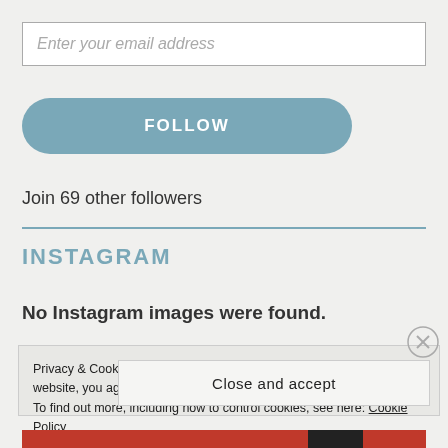Enter your email address
FOLLOW
Join 69 other followers
INSTAGRAM
No Instagram images were found.
Privacy & Cookies: This site uses cookies. By continuing to use this website, you agree to their use. To find out more, including how to control cookies, see here: Cookie Policy
Close and accept